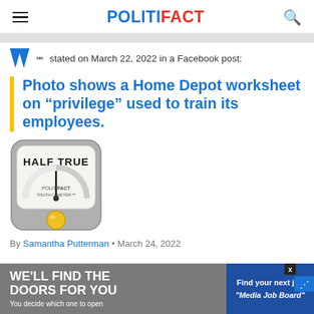POLITIFACT
stated on March 22, 2022 in a Facebook post:
Photo shows a Home Depot worksheet on “privilege” used to train its employees.
[Figure (illustration): PolitiFact Truth-O-Meter gauge showing HALF TRUE rating with yellow indicator button]
By Samantha Putterman • March 24, 2022
[Figure (infographic): Advertisement banner: WE'LL FIND THE DOORS FOR YOU / You decide which one to open / Find your next job / Media Job Board]